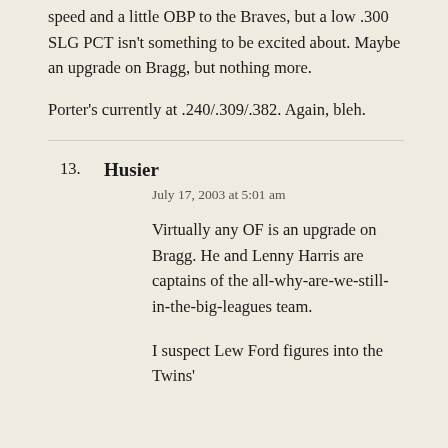.300 SLG PCT isn't something to be excited about. Maybe an upgrade on Bragg, but nothing more.
Porter's currently at .240/.309/.382. Again, bleh.
13. Husier
July 17, 2003 at 5:01 am
Virtually any OF is an upgrade on Bragg. He and Lenny Harris are captains of the all-why-are-we-still-in-the-big-leagues team.
I suspect Lew Ford figures into the Twins'